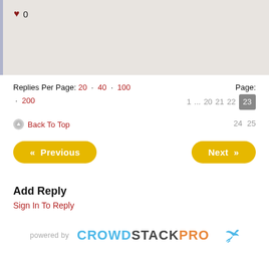[Figure (screenshot): Heart icon with count 0 on grey background]
Replies Per Page: 20 · 40 · 100 · 200
Page: 1 ... 20 21 22 23 24 25
Back To Top
« Previous
Next »
Add Reply
Sign In To Reply
powered by CROWDSTACKPRO